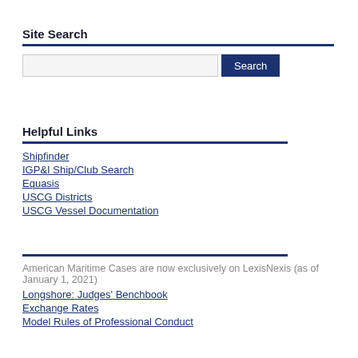Site Search
Search box with Search button
Helpful Links
Shipfinder
IGP&I Ship/Club Search
Equasis
USCG Districts
USCG Vessel Documentation
American Maritime Cases are now exclusively on LexisNexis (as of January 1, 2021)
Longshore: Judges' Benchbook
Exchange Rates
Model Rules of Professional Conduct